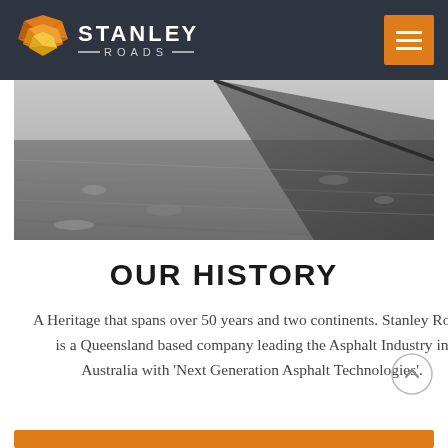[Figure (logo): Stanley Roads logo with geometric shield/chevron icon in orange and gold, company name in white on dark background]
[Figure (photo): Black and white aerial/close-up photograph of a road or asphalt surface with road markings]
OUR HISTORY
A Heritage that spans over 50 years and two continents. Stanley Roads is a Queensland based company leading the Asphalt Industry in Australia with 'Next Generation Asphalt Technologies'.